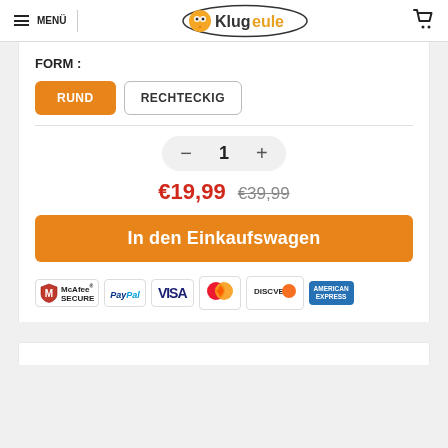MENÜ  Klugeule
FORM :
RUND  RECHTECKIG
1
€19,99  €39,99
In den Einkaufswagen
[Figure (logo): Payment trust badges: McAfee SECURE, PayPal, VISA, Mastercard, DISCOVER, American Express]